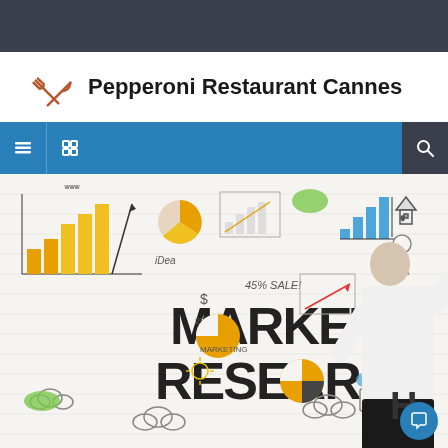Pepperoni Restaurant Cannes
navigation bar with menu and search icons
[Figure (photo): A man in a white shirt writing 'MARKET RESEARCH' on a white brick wall covered with hand-drawn business doodles including charts, graphs, pie charts, clouds, computers, light bulbs, and text like 'idea', 'www', '45% SALE', 'income', 'marketing', '25%'.]